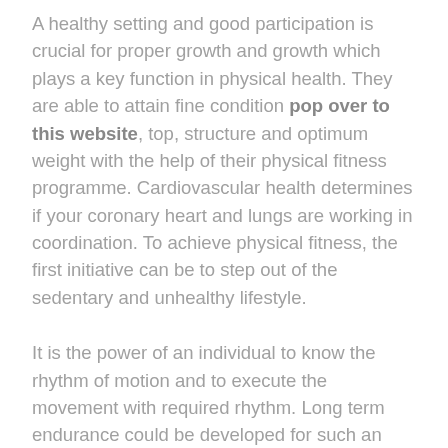A healthy setting and good participation is crucial for proper growth and growth which plays a key function in physical health. They are able to attain fine condition pop over to this website, top, structure and optimum weight with the help of their physical fitness programme. Cardiovascular health determines if your coronary heart and lungs are working in coordination. To achieve physical fitness, the first initiative can be to step out of the sedentary and unhealthy lifestyle.
It is the power of an individual to know the rhythm of motion and to execute the movement with required rhythm. Long term endurance could be developed for such an occasion which lasts for 10 min or more. Marathon, 5000 m and 10,000 m races are the examples of the long run endurance. The 1RM take a look at is carried out in the lab on resistance machines to measure muscle strength. Isometric and isotonic